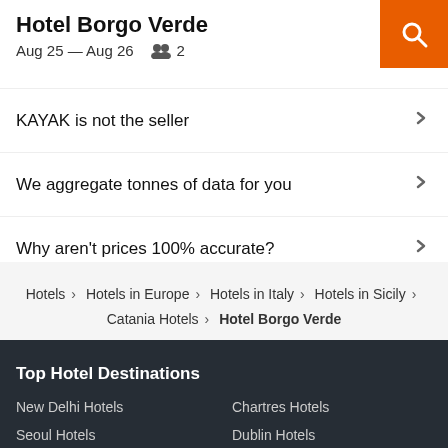Hotel Borgo Verde
Aug 25 — Aug 26  👥 2
KAYAK is not the seller
We aggregate tonnes of data for you
Why aren't prices 100% accurate?
Hotels > Hotels in Europe > Hotels in Italy > Hotels in Sicily > Catania Hotels > Hotel Borgo Verde
Top Hotel Destinations
New Delhi Hotels
Chartres Hotels
Seoul Hotels
Dublin Hotels